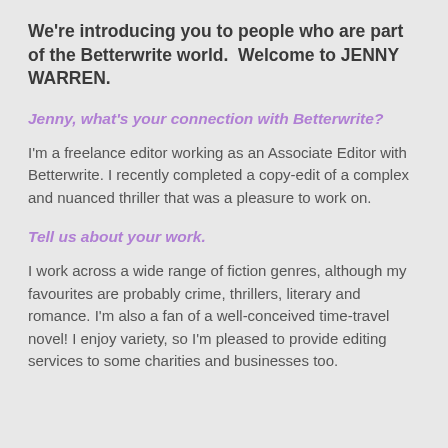We're introducing you to people who are part of the Betterwrite world.  Welcome to JENNY WARREN.
Jenny, what's your connection with Betterwrite?
I'm a freelance editor working as an Associate Editor with Betterwrite. I recently completed a copy-edit of a complex and nuanced thriller that was a pleasure to work on.
Tell us about your work.
I work across a wide range of fiction genres, although my favourites are probably crime, thrillers, literary and romance. I'm also a fan of a well-conceived time-travel novel! I enjoy variety, so I'm pleased to provide editing services to some charities and businesses too.